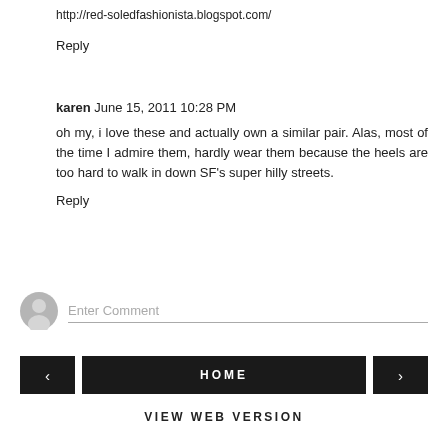http://red-soledfashionista.blogspot.com/
Reply
karen  June 15, 2011 10:28 PM
oh my, i love these and actually own a similar pair. Alas, most of the time I admire them, hardly wear them because the heels are too hard to walk in down SF's super hilly streets.
Reply
[Figure (illustration): User avatar icon placeholder - grey circle with silhouette]
Enter Comment
HOME
VIEW WEB VERSION